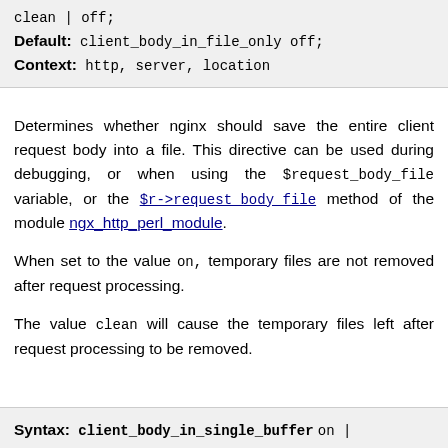clean | off;
Default: client_body_in_file_only off;
Context: http, server, location
Determines whether nginx should save the entire client request body into a file. This directive can be used during debugging, or when using the $request_body_file variable, or the $r->request_body_file method of the module ngx_http_perl_module.
When set to the value on, temporary files are not removed after request processing.
The value clean will cause the temporary files left after request processing to be removed.
Syntax: client_body_in_single_buffer on |